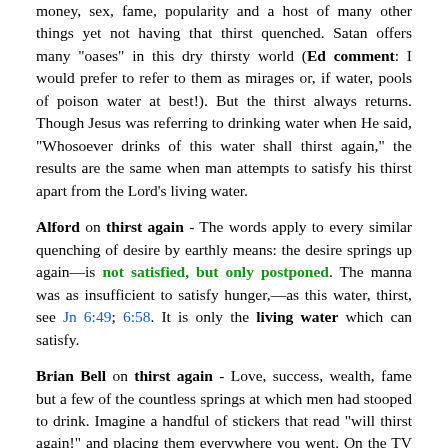money, sex, fame, popularity and a host of many other things yet not having that thirst quenched. Satan offers many "oases" in this dry thirsty world (Ed comment: I would prefer to refer to them as mirages or, if water, pools of poison water at best!). But the thirst always returns. Though Jesus was referring to drinking water when He said, "Whosoever drinks of this water shall thirst again," the results are the same when man attempts to satisfy his thirst apart from the Lord's living water.
Alford on thirst again - The words apply to every similar quenching of desire by earthly means: the desire springs up again—is not satisfied, but only postponed. The manna was as insufficient to satisfy hunger,—as this water, thirst, see Jn 6:49; 6:58. It is only the living water which can satisfy.
Brian Bell on thirst again - Love, success, wealth, fame but a few of the countless springs at which men had stooped to drink. Imagine a handful of stickers that read "will thirst again!" and placing them everywhere you went. On the TV set, bars & pubs; on bottles of alcohol; on a joint; on a prostitute; on the desk of the business exec who made it to the top—"you will